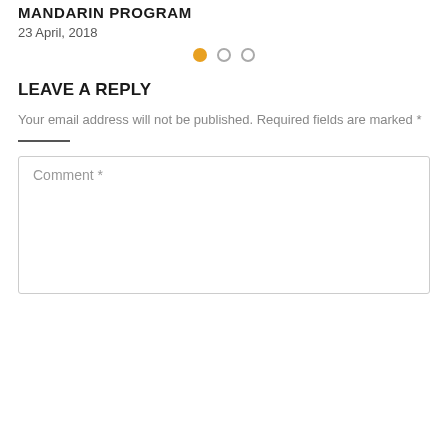MANDARIN PROGRAM
23 April, 2018
[Figure (other): Pagination dots: one filled orange dot and two empty circle dots]
LEAVE A REPLY
Your email address will not be published. Required fields are marked *
Comment *